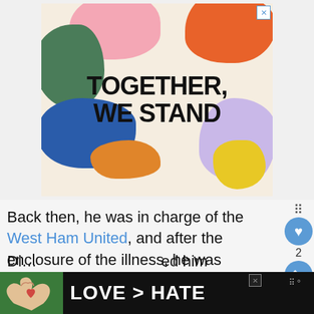[Figure (illustration): Advertisement banner with colorful organic blob shapes in pink, green, orange, blue, lavender, yellow on a cream background. Bold uppercase stencil text reads 'TOGETHER, WE STAND'. Close X button in top right corner.]
Back then, he was in charge of the West Ham United, and after the enclosure of the illness, he was compelled to take a break.
[Figure (photo): Bottom advertisement banner with dark background. Shows hands making a heart shape. Text reads 'LOVE > HATE' in bold white letters. Close X button visible.]